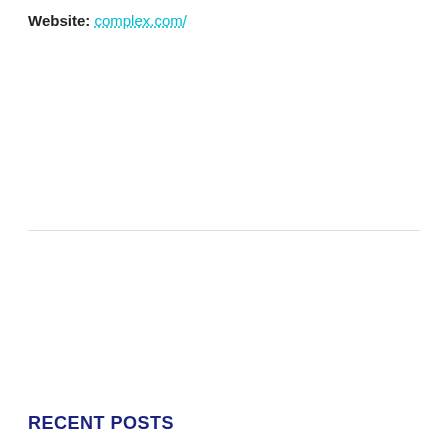Website: complex.com/
[Figure (screenshot): Advertisement for SmartDeploy with headline 'Like SCCM without the Headache', subtext 'Deploy Windows images via USB, over your network, and even from the cloud.', and a 'Learn More' CTA button in blue.]
RECENT POSTS